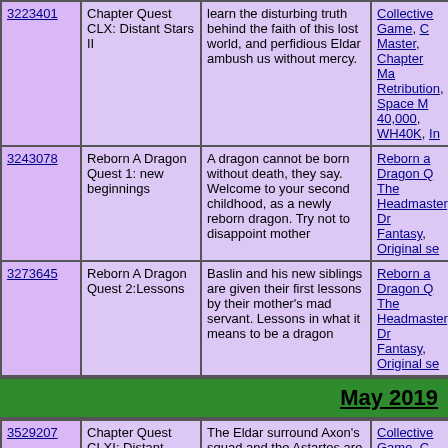| ID | Title | Description | Tags |
| --- | --- | --- | --- |
| 3223401 | Chapter Quest CLX: Distant Stars II | learn the disturbing truth behind the faith of this lost world, and perfidious Eldar ambush us without mercy. | Collective Game, C Master, Chapter Ma Retribution, Space M 40,000, WH40K, In |
| 3243078 | Reborn A Dragon Quest 1: new beginnings | A dragon cannot be born without death, they say. Welcome to your second childhood, as a newly reborn dragon. Try not to disappoint mother | Reborn a Dragon Q The Headmaster, Dr Fantasy, Original se |
| 3273645 | Reborn A Dragon Quest 2:Lessons | Baslin and his new siblings are given their first lessons by their mother's mad servant. Lessons in what it means to be a dragon | Reborn a Dragon Q The Headmaster, Dr Fantasy, Original se |
May 2019
| ID | Title | Description | Tags |
| --- | --- | --- | --- |
| 3529207 | Chapter Quest CLXI: Distant Stars III | The Eldar surround Axon's squad and the Astartes are forced to parlay with the xenos. | Collective Game, C Master, Chapter Ma Retribution, Space M 40,000, WH40K, In |
October 2019